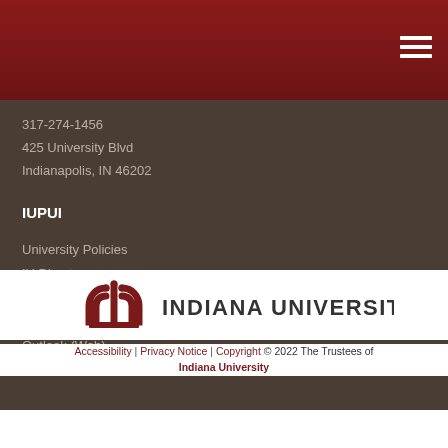317-274-1456
425 University Blvd
Indianapolis, IN 46202
IUPUI
University Policies
IU Directory
IU Knowledge Base
Gmail at IU
Outlook (Web)
[Figure (logo): Indiana University trident logo with text INDIANA UNIVERSITY]
Accessibility | Privacy Notice | Copyright © 2022 The Trustees of Indiana University